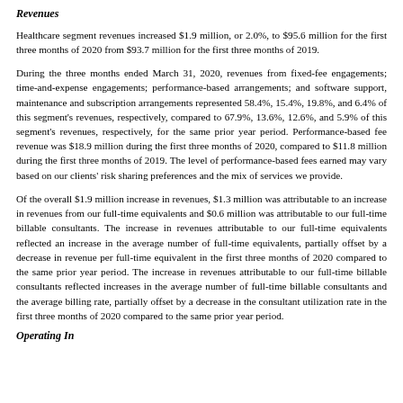Revenues
Healthcare segment revenues increased $1.9 million, or 2.0%, to $95.6 million for the first three months of 2020 from $93.7 million for the first three months of 2019.
During the three months ended March 31, 2020, revenues from fixed-fee engagements; time-and-expense engagements; performance-based arrangements; and software support, maintenance and subscription arrangements represented 58.4%, 15.4%, 19.8%, and 6.4% of this segment's revenues, respectively, compared to 67.9%, 13.6%, 12.6%, and 5.9% of this segment's revenues, respectively, for the same prior year period. Performance-based fee revenue was $18.9 million during the first three months of 2020, compared to $11.8 million during the first three months of 2019. The level of performance-based fees earned may vary based on our clients' risk sharing preferences and the mix of services we provide.
Of the overall $1.9 million increase in revenues, $1.3 million was attributable to an increase in revenues from our full-time equivalents and $0.6 million was attributable to our full-time billable consultants. The increase in revenues attributable to our full-time equivalents reflected an increase in the average number of full-time equivalents, partially offset by a decrease in revenue per full-time equivalent in the first three months of 2020 compared to the same prior year period. The increase in revenues attributable to our full-time billable consultants reflected increases in the average number of full-time billable consultants and the average billing rate, partially offset by a decrease in the consultant utilization rate in the first three months of 2020 compared to the same prior year period.
Operating Income